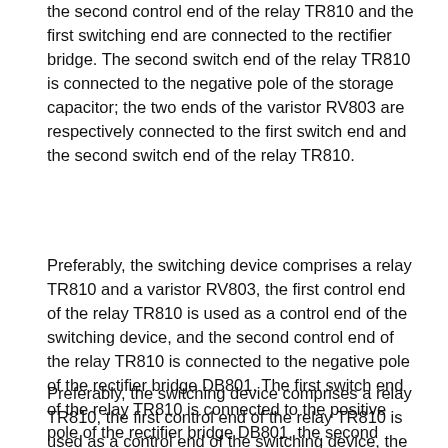the second control end of the relay TR810 and the first switching end are connected to the rectifier bridge. The second switch end of the relay TR810 is connected to the negative pole of the storage capacitor; the two ends of the varistor RV803 are respectively connected to the first switch end and the second switch end of the relay TR810.
Preferably, the switching device comprises a relay TR810 and a varistor RV803, the first control end of the relay TR810 is used as a control end of the switching device, and the second control end of the relay TR810 is connected to the negative pole of the rectifier bridge DB801. The first switch end of the relay TR810 is connected to the positive pole of the rectifier bridge DB801, the second switch end of the relay TR810 is connected to the positive pole of the storage capacitor; the two ends of the varistor RV803 are respectively connected to the first switch end and the second of the relay TR810 Switch end.
Preferably, the switching device comprises a relay TR810, the first control end of the relay TR810 is used as a control end of the switching device, the second control end of the relay TR810 is connected to the negative pole of the